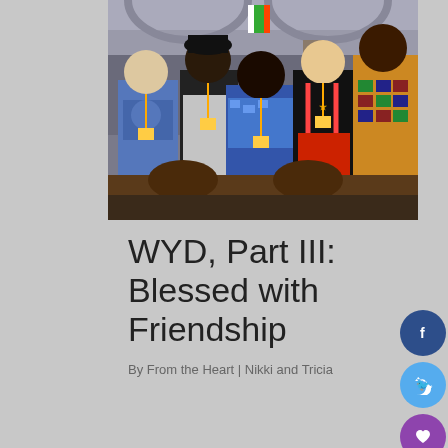[Figure (photo): Five young people standing together inside what appears to be a large historic building or church. From left to right: a person in a blue t-shirt with a lanyard, a person in a black outfit, a person in a blue patterned top with a lanyard, a person in a black jersey with red shorts, and a person in a colorful African print outfit. They are posing and smiling for the photo.]
WYD, Part III: Blessed with Friendship
By From the Heart | Nikki and Tricia